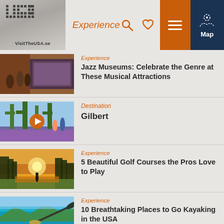VisitTheUSA.se — Experience
[Figure (photo): Jazz museum interior with musicians and screen]
Experience
Jazz Museums: Celebrate the Genre at These Musical Attractions
[Figure (photo): Desert scene with cacti and people walking, play button overlay]
Destination
Gilbert
[Figure (photo): Golf course at sunset with golfer silhouette]
Experience
5 Beautiful Golf Courses the Pros Love to Play
[Figure (photo): Person kayaking on turquoise water]
Experience
10 Breathtaking Places to Go Kayaking in the USA
[Figure (photo): Observatory dome at night]
Experience
A Closer Look at the Cosmos: Must-Visit U.S. Observatories